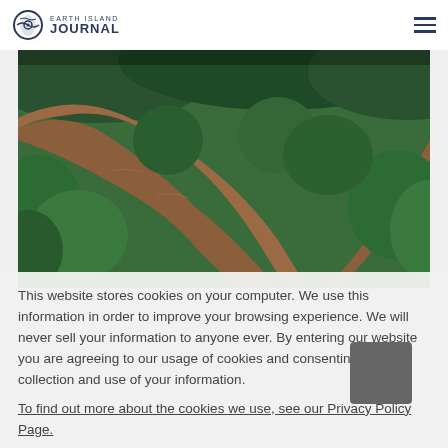Earth Island Journal
[Figure (photo): Aerial view of a brown river winding through dense tropical rainforest with green hills in the background]
This website stores cookies on your computer. We use this information in order to improve your browsing experience. We will never sell your information to anyone ever. By entering our website you are agreeing to our usage of cookies and consenting to the collection and use of your information.
To find out more about the cookies we use, see our Privacy Policy Page.